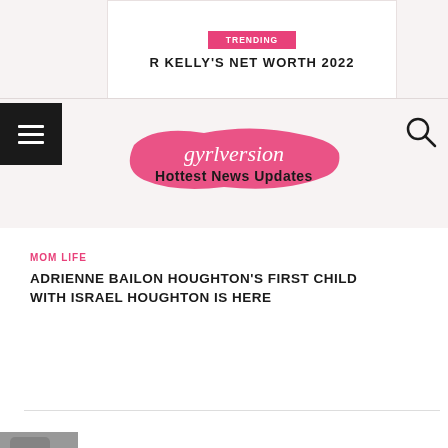TRENDING
R KELLY'S NET WORTH 2022
[Figure (logo): Gyrlversion - Hottest News Updates logo with pink brush stroke background]
MOM LIFE
ADRIENNE BAILON HOUGHTON'S FIRST CHILD WITH ISRAEL HOUGHTON IS HERE
[Figure (photo): Partial photo visible at bottom of page, appears to be a person in a car]